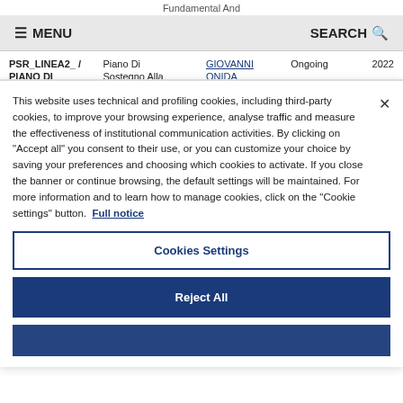Fundamental And
≡ MENU    SEARCH 🔍
|  |  |  |  |  |
| --- | --- | --- | --- | --- |
| PSR_LINEA2_ / PIANO DI SVILUPPO DI | Piano Di Sostegno Alla Ricerca 2015 | GIOVANNI ONIDA | Ongoing | 2022 |
This website uses technical and profiling cookies, including third-party cookies, to improve your browsing experience, analyse traffic and measure the effectiveness of institutional communication activities. By clicking on "Accept all" you consent to their use, or you can customize your choice by saving your preferences and choosing which cookies to activate. If you close the banner or continue browsing, the default settings will be maintained. For more information and to learn how to manage cookies, click on the "Cookie settings" button. Full notice
Cookies Settings
Reject All